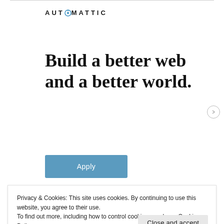[Figure (logo): Automattic logo with stylized 'O' containing a compass/circle icon, text in bold spaced caps]
Build a better web and a better world.
Apply
Privacy & Cookies: This site uses cookies. By continuing to use this website, you agree to their use.
To find out more, including how to control cookies, see here: Cookie Policy
Close and accept